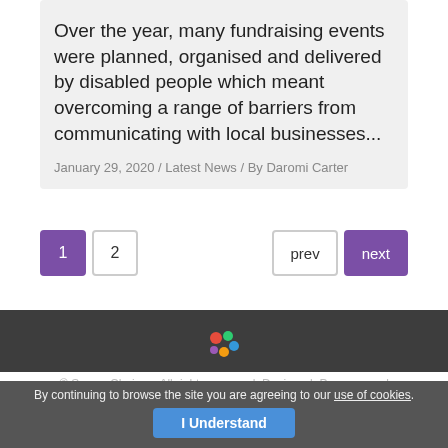Over the year, many fundraising events were planned, organised and delivered by disabled people which meant overcoming a range of barriers from communicating with local businesses...
January 29, 2020 / Latest News / By Daromi Carter
1  2   prev  next
© Surrey Choices. All rights reserved. Designed, Programmed and SEO by InDzine.
By continuing to browse the site you are agreeing to our use of cookies. I Understand